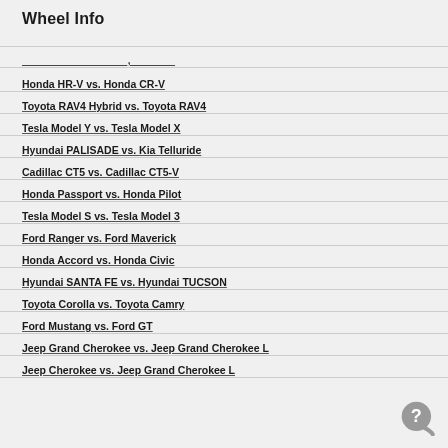Wheel Info
Honda HR-V vs. Honda CR-V
Toyota RAV4 Hybrid vs. Toyota RAV4
Tesla Model Y vs. Tesla Model X
Hyundai PALISADE vs. Kia Telluride
Cadillac CT5 vs. Cadillac CT5-V
Honda Passport vs. Honda Pilot
Tesla Model S vs. Tesla Model 3
Ford Ranger vs. Ford Maverick
Honda Accord vs. Honda Civic
Hyundai SANTA FE vs. Hyundai TUCSON
Toyota Corolla vs. Toyota Camry
Ford Mustang vs. Ford GT
Jeep Grand Cherokee vs. Jeep Grand Cherokee L
Jeep Cherokee vs. Jeep Grand Cherokee L